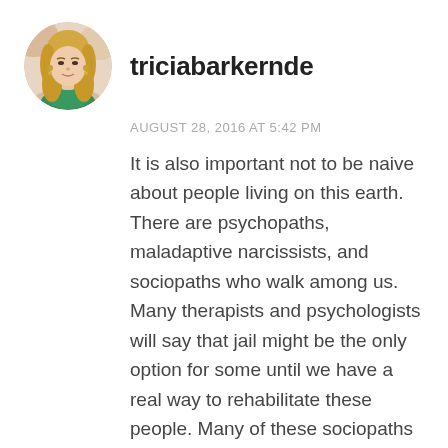[Figure (photo): Circular avatar photo of a woman with blonde hair wearing a green top]
triciabarkernde
AUGUST 28, 2016 AT 5:42 PM
It is also important not to be naive about people living on this earth. There are psychopaths, maladaptive narcissists, and sociopaths who walk among us. Many therapists and psychologists will say that jail might be the only option for some until we have a real way to rehabilitate these people. Many of these sociopaths and narcissists see nothing wrong with their actions. They make up a million reasons to justify their actions without looking at the harm they